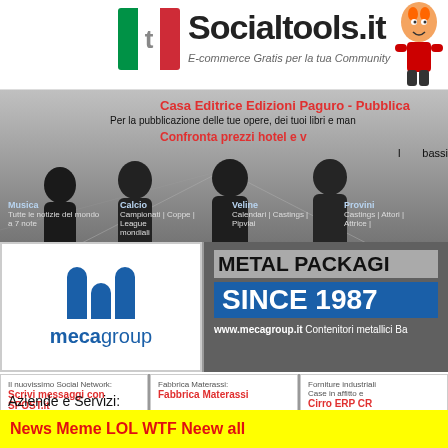Socialtools.it - E-commerce Gratis per la tua Community
[Figure (logo): Socialtools.it logo with Italian flag and cartoon character]
[Figure (photo): Background photo of band/group of people in dark clothing]
Casa Editrice Edizioni Paguro - Pubblica
Per la pubblicazione delle tue opere, dei tuoi libri e man
Confronta prezzi hotel e v
I    bassi
Musica
Tutte le notizie del mondo a 7 note
Calcio
Campionati | Coppe | League mondiali
Veline
Calendari | Castings | Pipviai
Provini
Castings | Attori | Attrice |
[Figure (logo): Mecagroup logo with blue M bars and text 'mecagroup']
METAL PACKAGI
SINCE 1987
www.mecagroup.it Contenitori metallici Ba
Il nuovissimo Social Network:
Scrivi messaggi con SPOST.it
Fabbrica Materassi:
Fabbrica Materassi
Forniture industriali
Case in affitto e
Cirro ERP CR
Aziende e Servizi:
News Meme LOL WTF Neew all